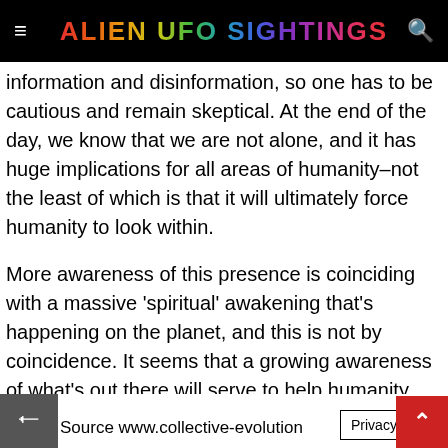ALIEN UFO SIGHTINGS
information and disinformation, so one has to be cautious and remain skeptical. At the end of the day, we know that we are not alone, and it has huge implications for all areas of humanity–not the least of which is that it will ultimately force humanity to look within.
More awareness of this presence is coinciding with a massive 'spiritual' awakening that's happening on the planet, and this is not by coincidence. It seems that a growing awareness of what's out there will serve to help humanity better understand itself.
Source www.collective-evolution    Privacy Policy